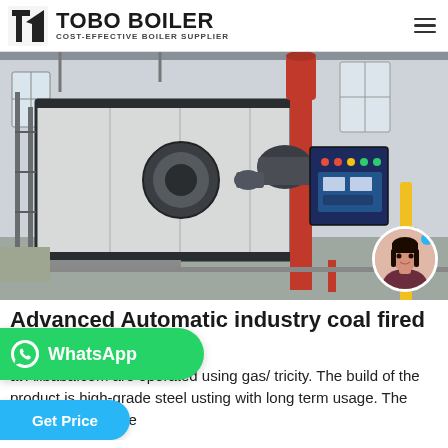TOBO BOILER — COST-EFFECTIVE BOILER SUPPLIER
[Figure (photo): Industrial coal-fired boiler unit installed in a factory/warehouse setting. Large white rectangular boiler body with dark blue frame, a burner assembly and red cylindrical exhaust stack, control panel with indicator lights, and various pipes and fittings. Background shows industrial building interior with windows.]
Advanced Automatic industry coal fired boilers
at Alibaba.com are operated using gas/ tricity. The build of the product is high-grade steel usting with long term usage. The output temperature